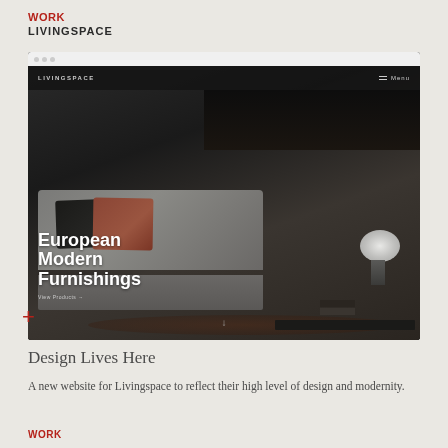WORK
LIVINGSPACE
[Figure (screenshot): Screenshot of the Livingspace website showing a hero image of a grey sofa with dark and terracotta pillows, a designer lamp on a side table, with the headline 'European Modern Furnishings' and a navigation bar with the Livingspace logo and Menu button.]
Design Lives Here
A new website for Livingspace to reflect their high level of design and modernity.
WORK